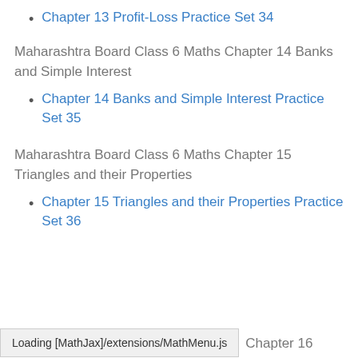Chapter 13 Profit-Loss Practice Set 34
Maharashtra Board Class 6 Maths Chapter 14 Banks and Simple Interest
Chapter 14 Banks and Simple Interest Practice Set 35
Maharashtra Board Class 6 Maths Chapter 15 Triangles and their Properties
Chapter 15 Triangles and their Properties Practice Set 36
Loading [MathJax]/extensions/MathMenu.js   Chapter 16